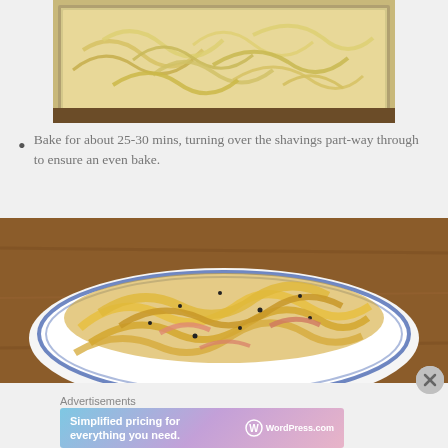[Figure (photo): A baking tray lined with parchment paper covered in thin pale yellow shavings or strips of what appears to be parsnip or similar vegetable, ready to be baked.]
Bake for about 25-30 mins, turning over the shavings part-way through to ensure an even bake.
[Figure (photo): A bowl with blue trim filled with golden baked crispy vegetable shavings with black pepper seasoning, served on a wooden surface.]
Advertisements
[Figure (other): WordPress.com advertisement banner: 'Simplified pricing for everything you need.' with WordPress.com logo]